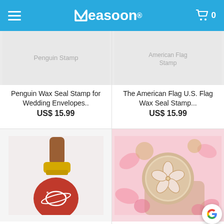Measoon® — Menu | Cart 0
[Figure (photo): Penguin Wax Seal Stamp product photo (partially visible, top cropped)]
Penguin Wax Seal Stamp for Wedding Envelopes..
US$ 15.99
[Figure (photo): The American Flag U.S. Flag Wax Seal Stamp product photo (partially visible, top cropped)]
The American Flag U.S. Flag Wax Seal Stamp...
US$ 15.99
[Figure (photo): Saturn Wax Seal Stamp — gold and wood handle stamp with red wax seal imprint of planet Saturn with rings]
Saturn Wax Seal Stamp Firsthand and...
US$ 15.99
[Figure (photo): Japan Sakura Cherry Blossom Wax Seal Stamp — gold circular stamp head with cherry blossom design held by fingers, pink petals in background]
Japan Sakura Sakura Cherry Blossom Wax Se...
US$ 15.99